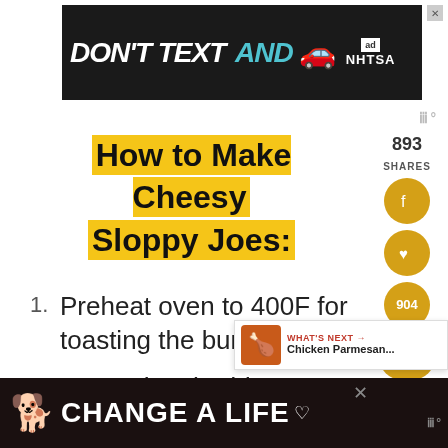[Figure (other): Top advertisement banner: DON'T TEXT AND [car emoji] NHTSA on dark background with close button]
How to Make Cheesy Sloppy Joes:
Preheat oven to 400F for toasting the buns.
Dump the cheddar cheese
[Figure (other): Social share sidebar with 893 SHARES count, Facebook button, heart/save button, 904 count button, share button]
[Figure (other): What's Next popup showing Chicken Parmesan... with thumbnail image]
[Figure (other): Bottom advertisement banner: dog image with CHANGE A LIFE text on dark background]